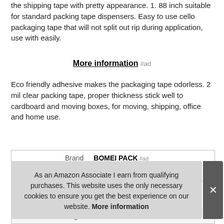the shipping tape with pretty appearance. 1. 88 inch suitable for standard packing tape dispensers. Easy to use cello packaging tape that will not split out rip during application, use with easily.
More information #ad
Eco friendly adhesive makes the packaging tape odorless. 2 mil clear packing tape, proper thickness stick well to cardboard and moving boxes, for moving, shipping, office and home use.
|  |  |
| --- | --- |
| Brand | BOMEI PACK #ad |
| M... |  |
| Length | 12.09 Inches |
As an Amazon Associate I earn from qualifying purchases. This website uses the only necessary cookies to ensure you get the best experience on our website. More information